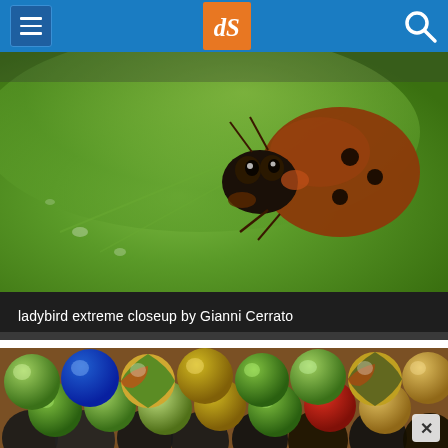dPS navigation header with menu, logo, and search
[Figure (photo): Extreme macro closeup of a ladybird (ladybug) on a green leaf, showing detailed eyes and head against a blurred green background]
ladybird extreme closeup by Gianni Cerrato
[Figure (photo): Close-up photo of colorful glass marbles — green, red, blue, yellow, multicolor — densely packed together with shallow depth of field]